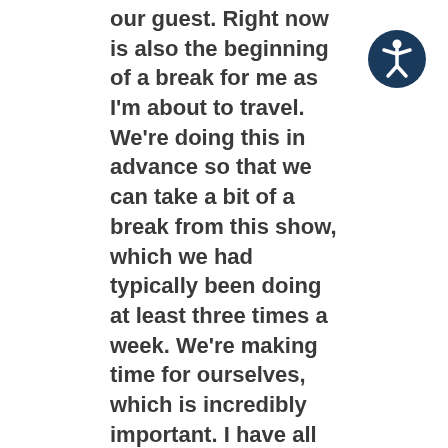our guest. Right now is also the beginning of a break for me as I'm about to travel. We're doing this in advance so that we can take a bit of a break from this show, which we had typically been doing at least three times a week. We're making time for ourselves, which is incredibly important. I have all these plans to take a break. Jason, since he's staying put in Los Angeles and I'm traveling, I feel like sometimes it's hard to take a break if you don't change your environment. Jason, I'm curious how you're feeling and what about this that's resonating with you thus far in terms of your own reflections of needing a break career-wise.
It's interesting that we have you here, Katrina, for a lot of reasons. I reflect on the career breaks that I took previously in my life when I was younger. I've changed careers three times at least in my life so far. This subject interests me. This might be self-effacing but it seems like every time that I changed
[Figure (illustration): Accessibility icon: a circular dark blue button with a white stick figure with arms outstretched, representing accessibility/wheelchair user symbol]